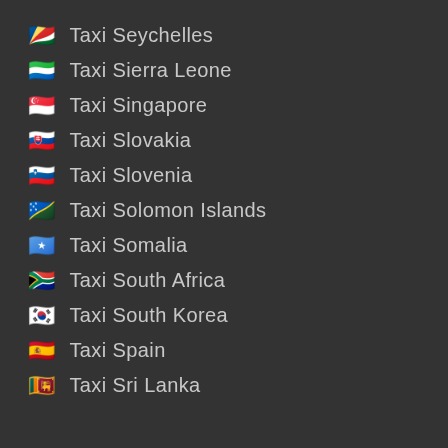🇸🇨 Taxi Seychelles
🇸🇱 Taxi Sierra Leone
🇸🇬 Taxi Singapore
🇸🇰 Taxi Slovakia
🇸🇮 Taxi Slovenia
🇸🇧 Taxi Solomon Islands
🇸🇴 Taxi Somalia
🇿🇦 Taxi South Africa
🇰🇷 Taxi South Korea
🇪🇸 Taxi Spain
🇱🇰 Taxi Sri Lanka